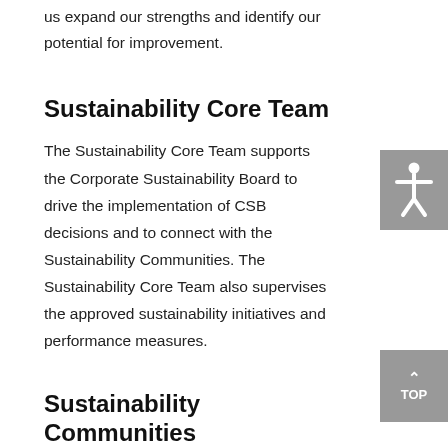us expand our strengths and identify our potential for improvement.
Sustainability Core Team
The Sustainability Core Team supports the Corporate Sustainability Board to drive the implementation of CSB decisions and to connect with the Sustainability Communities. The Sustainability Core Team also supervises the approved sustainability initiatives and performance measures.
Sustainability Communities
As cross-divisional and cross-regional teams, the